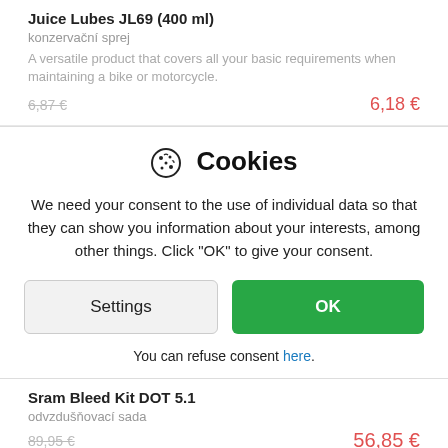Juice Lubes JL69 (400 ml)
konzervační sprej
A versatile product that covers all your basic requirements when maintaining a bike or motorcycle.
6,87 €   6,18 €
[Figure (screenshot): Cookie consent dialog box with cookie icon, heading 'Cookies', consent text, Settings and OK buttons, and a refuse consent link.]
Sram Bleed Kit DOT 5.1
odvzdušňovací sada
89,95 €   56,85 €
in stock
BUY